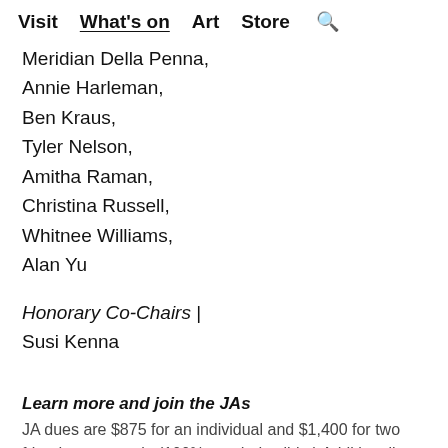Visit  What's on  Art  Store  🔍
Meridian Della Penna,
Annie Harleman,
Ben Kraus,
Tyler Nelson,
Amitha Raman,
Christina Russell,
Whitnee Williams,
Alan Yu
Honorary Co-Chairs | Susi Kenna
Learn more and join the JAs
JA dues are $875 for an individual and $1,400 for two friends or a couple (100% tax-deductible.) Additionally, all JAs are required to purchase a MoMA membership at $110